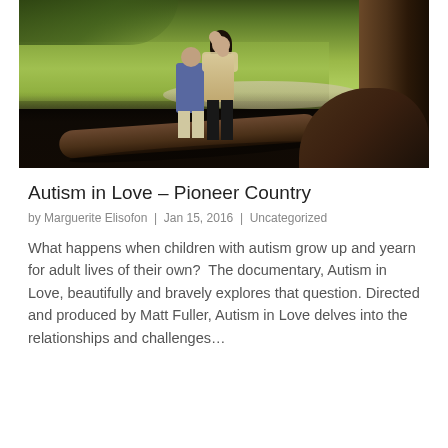[Figure (photo): A couple kissing outdoors near a large fallen log and tree, with green grass and foliage in the background.]
Autism in Love – Pioneer Country
by Marguerite Elisofon | Jan 15, 2016 | Uncategorized
What happens when children with autism grow up and yearn for adult lives of their own?  The documentary, Autism in Love, beautifully and bravely explores that question. Directed and produced by Matt Fuller, Autism in Love delves into the relationships and challenges…